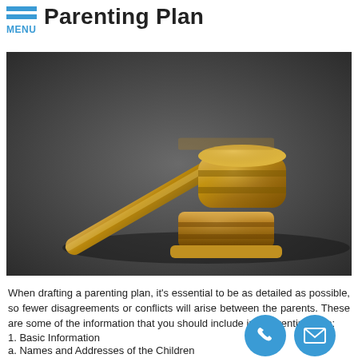Parenting Plan
[Figure (photo): A gold judge's gavel resting on its sounding block against a dark gray background]
When drafting a parenting plan, it's essential to be as detailed as possible, so fewer disagreements or conflicts will arise between the parents. These are some of the information that you should include in a parenting plan:
1. Basic Information
a. Names and Addresses of the Children
b. Names and Contact Information of the Parents